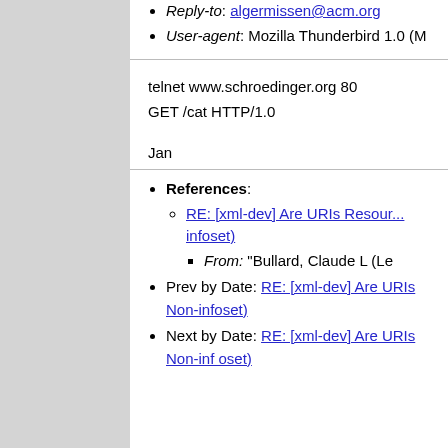Reply-to: algermissen@acm.org
User-agent: Mozilla Thunderbird 1.0 (M
telnet www.schroedinger.org 80

GET /cat HTTP/1.0

Jan
References: RE: [xml-dev] Are URIs Resour... infoset)
From: "Bullard, Claude L (Le
Prev by Date: RE: [xml-dev] Are URIs Non-infoset)
Next by Date: RE: [xml-dev] Are URIs Non-inf oset)